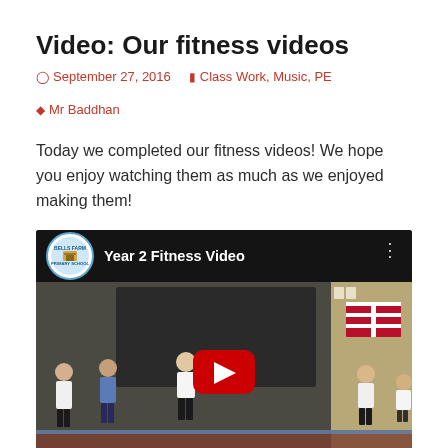Video: Our fitness videos
September 27, 2016   Class Work, Music, PE   Mr Baddhan
Today we completed our fitness videos! We hope you enjoy watching them as much as we enjoyed making them!
[Figure (screenshot): Embedded YouTube video thumbnail showing children exercising in a classroom, titled 'Year 2 Fitness Video' with Bells Farm Primary School logo and a red play button overlay.]